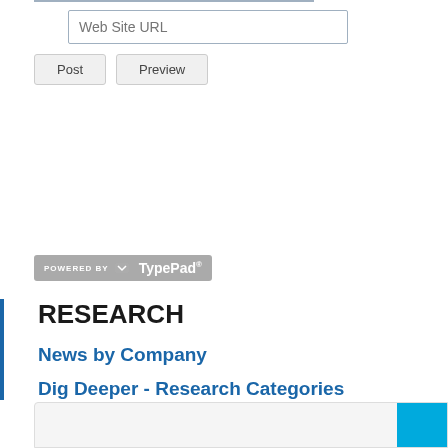Web Site URL
Post    Preview
[Figure (logo): Powered by TypePad badge/logo in gray with white text and icon]
RESEARCH
News by Company
Dig Deeper - Research Categories
[Figure (screenshot): Search bar at bottom with cyan/blue search button on the right]